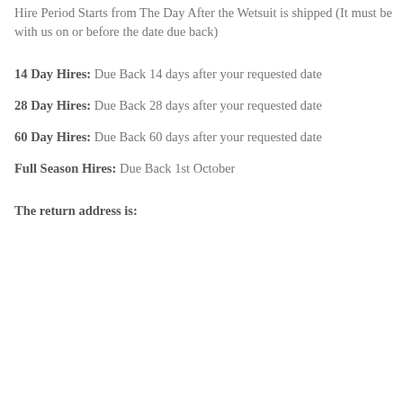Hire Period Starts from The Day After the Wetsuit is shipped (It must be with us on or before the date due back)
14 Day Hires: Due Back 14 days after your requested date
28 Day Hires: Due Back 28 days after your requested date
60 Day Hires: Due Back 60 days after your requested date
Full Season Hires: Due Back 1st October
The return address is: